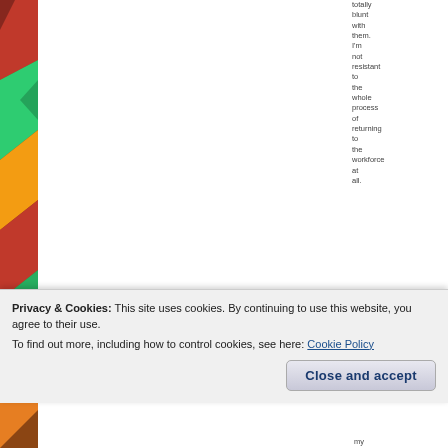[Figure (illustration): Colorful stained glass or mosaic background with red, yellow, green, and black geometric patterns visible on left edge and right edge of the page]
totally blunt with them. I'm not resistant to the whole process of returning to the workforce at all.
Privacy & Cookies: This site uses cookies. By continuing to use this website, you agree to their use.
To find out more, including how to control cookies, see here: Cookie Policy
Close and accept
my